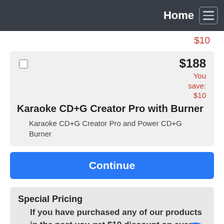Home
$10
$188
Karaoke CD+G Creator Pro with Burner
You save: $10
Karaoke CD+G Creator Pro and Power CD+G Burner
Continue
Special Pricing
If you have purchased any of our products in the past you get $10 discount on every next product you buy.